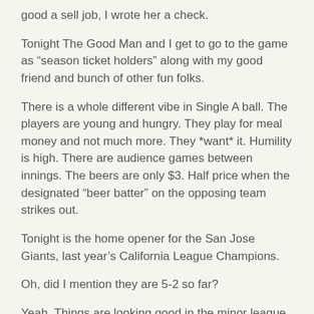good a sell job, I wrote her a check.
Tonight The Good Man and I get to go to the game as “season ticket holders” along with my good friend and bunch of other fun folks.
There is a whole different vibe in Single A ball. The players are young and hungry. They play for meal money and not much more. They *want* it. Humility is high. There are audience games between innings. The beers are only $3. Half price when the designated “beer batter” on the opposing team strikes out.
Tonight is the home opener for the San Jose Giants, last year’s California League Champions.
Oh, did I mention they are 5-2 so far?
Yeah. Things are looking good in the minor league.